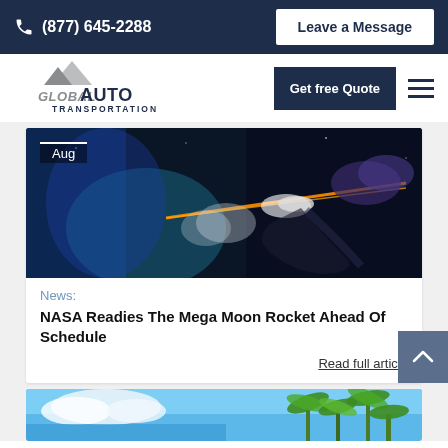(877) 645-2288  Leave a Message
[Figure (logo): Global Auto Transportation logo with triangular mountain graphic]
Get free Quote
[Figure (photo): Rocket launch with orange laser trail and smoke cloud against dark blue sky, with month badge 'Aug']
News:
NASA Readies The Mega Moon Rocket Ahead Of Schedule
Read full article
[Figure (photo): Tropical scene with blue sky, clouds, and palm trees]